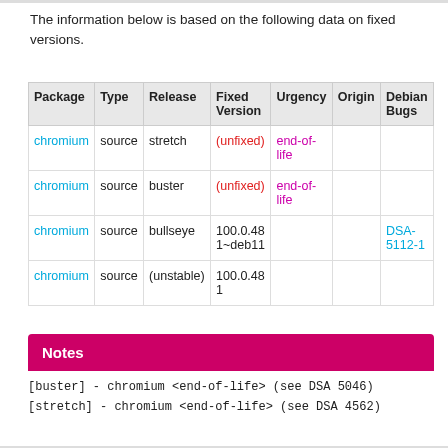The information below is based on the following data on fixed versions.
| Package | Type | Release | Fixed Version | Urgency | Origin | Debian Bugs |
| --- | --- | --- | --- | --- | --- | --- |
| chromium | source | stretch | (unfixed) | end-of-life |  |  |
| chromium | source | buster | (unfixed) | end-of-life |  |  |
| chromium | source | bullseye | 100.0.481~deb11 |  |  | DSA-5112-1 |
| chromium | source | (unstable) | 100.0.481 |  |  |  |
Notes
[buster] - chromium <end-of-life> (see DSA 5046)
[stretch] - chromium <end-of-life> (see DSA 4562)